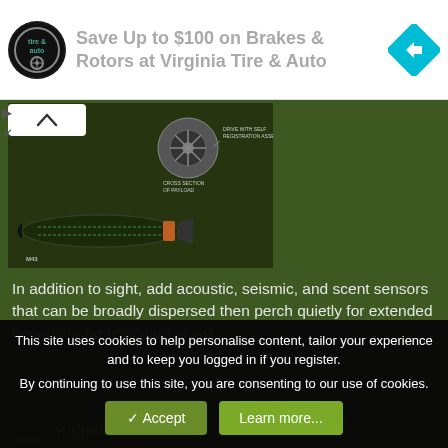[Figure (screenshot): Advertisement banner: Virginia Tire & Auto logo on left, text 'Save Up to $100 on Brakes & Rotors at Virginia Tire & Auto' in center, blue navigation icon on right]
[Figure (photo): Cutaway engineering diagram of what appears to be a torpedo or missile (M43 label visible) showing internal components including drive with self-registration assembly and cross-section of air payload]
In addition to sight, add acoustic, seismic, and scent sensors that can be broadly dispersed then perch quietly for extended periods or be relocated at will.
Kirkhill
This site uses cookies to help personalise content, tailor your experience and to keep you logged in if you register.
By continuing to use this site, you are consenting to our use of cookies.